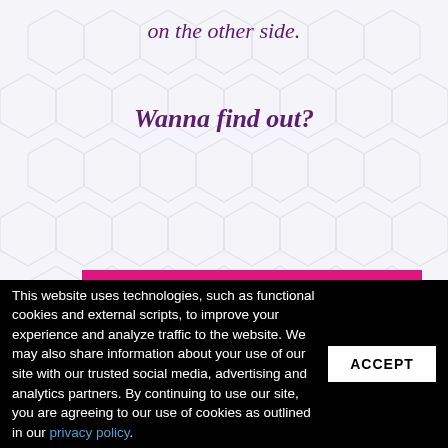on the other side.
Wanna find out?
[Figure (other): Pink/magenta banner with large white bold text reading JOIN THE WAITLIST!]
This website uses technologies, such as functional cookies and external scripts, to improve your experience and analyze traffic to the website. We may also share information about your use of our site with our trusted social media, advertising and analytics partners. By continuing to use our site, you are agreeing to our use of cookies as outlined in our privacy policy.